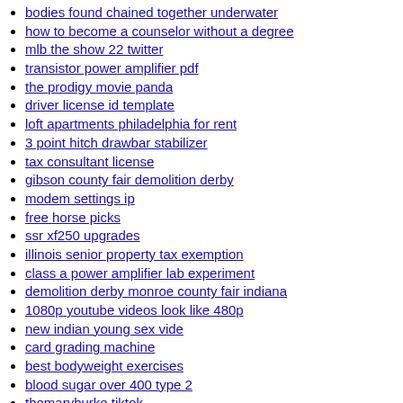bodies found chained together underwater
how to become a counselor without a degree
mlb the show 22 twitter
transistor power amplifier pdf
the prodigy movie panda
driver license id template
loft apartments philadelphia for rent
3 point hitch drawbar stabilizer
tax consultant license
gibson county fair demolition derby
modem settings ip
free horse picks
ssr xf250 upgrades
illinois senior property tax exemption
class a power amplifier lab experiment
demolition derby monroe county fair indiana
1080p youtube videos look like 480p
new indian young sex vide
card grading machine
best bodyweight exercises
blood sugar over 400 type 2
themaryburke tiktok
hair growth at home
javascript validate number with 2 decimal places
subaru map update 2022